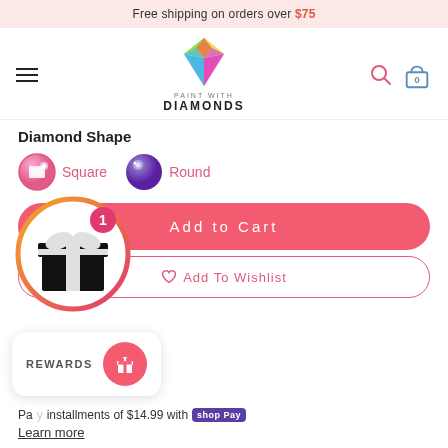Free shipping on orders over $75
[Figure (logo): Paint With Diamonds logo with colorful diamond gem icon and text 'PAINT WITH DIAMONDS']
Diamond Shape
Square  Round
[Figure (illustration): Gift box icon inside circular gradient border with badge showing '1']
Add to Cart
Add To Wishlist
REWARDS
installments of $14.99 with shop Pay
Learn more